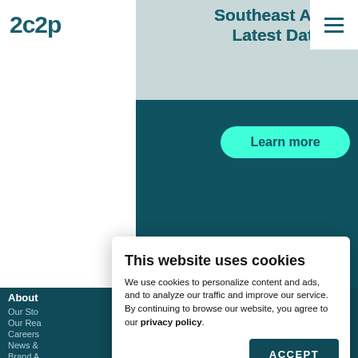[Figure (logo): 2c2p company logo in dark teal]
[Figure (screenshot): Hero banner with 'Southeast Asia: Latest Data' heading and 'Learn more' button on teal background]
This website uses cookies
We use cookies to personalize content and ads, and to analyze our traffic and improve our service.
By continuing to browse our website, you agree to our privacy policy.
ACCEPT
About
Our Sto
Our Rea
Careers
News &
Brand A
ISO 27701